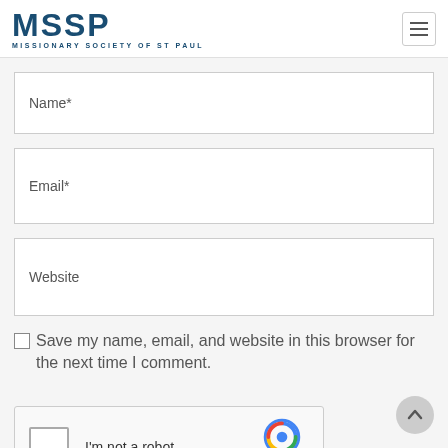MSSP - MISSIONARY SOCIETY OF ST PAUL
Name*
Email*
Website
Save my name, email, and website in this browser for the next time I comment.
[Figure (other): reCAPTCHA widget with checkbox, 'I'm not a robot' label, reCAPTCHA logo, Privacy and Terms links]
[Figure (other): Scroll-to-top button with upward caret arrow]